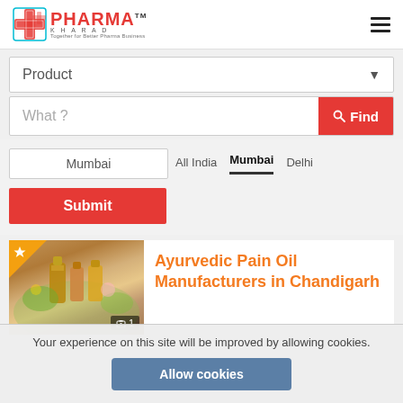[Figure (logo): PharmaKhara logo with red cross and text 'PHARMA KHARA - Together for Better Pharma Business']
Product ▼
What ?
🔍 Find
Mumbai
All India   Mumbai   Delhi
Submit
[Figure (photo): Ayurvedic oils and herbal products photo with image counter showing 1]
Ayurvedic Pain Oil Manufacturers in Chandigarh
Your experience on this site will be improved by allowing cookies.
Allow cookies